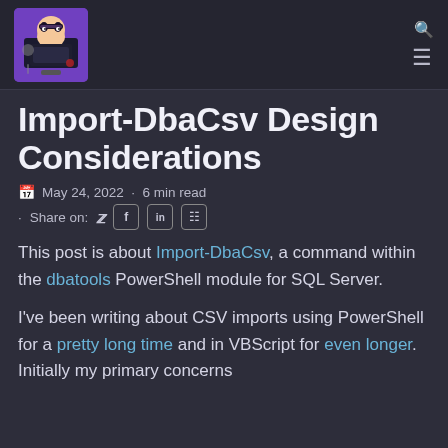Import-DbaCsv Design Considerations — blog header with logo and navigation icons
Import-DbaCsv Design Considerations
May 24, 2022 · 6 min read
· Share on: [Twitter] [Facebook] [LinkedIn] [Copy]
This post is about Import-DbaCsv, a command within the dbatools PowerShell module for SQL Server.
I've been writing about CSV imports using PowerShell for a pretty long time and in VBScript for even longer. Initially my primary concerns